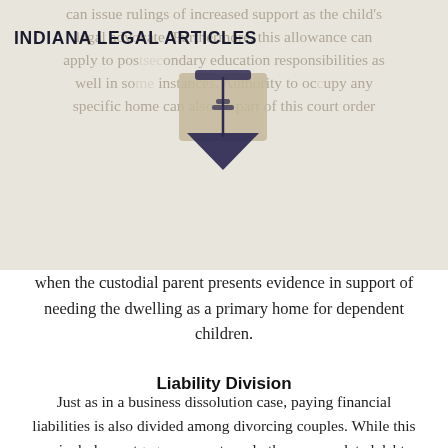INDIANA LEGAL ARTICLES
can issue rulings of increased support as the child's legal advocate. Furthermore, this allowance can apply to postsecondary education responsibilities as well in some instances. Authority to occupy any specific home can also be part of this court order when the custodial parent presents evidence in support of needing the dwelling as a primary home for dependent children.
Liability Division
Just as in a business dissolution case, paying financial liabilities is also divided among divorcing couples. While this can include mortgage payments and other accumulated debts, it can also include other outstanding financial liabilities such as credit cards. In addition, either spouse can claim exemption from certain financial liabilities under aggravating